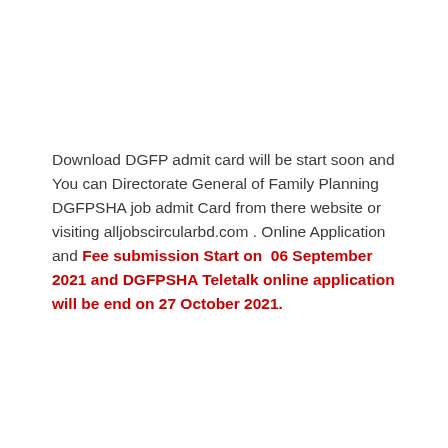Download DGFP admit card will be start soon and You can Directorate General of Family Planning DGFPSHA job admit Card from there website or visiting alljobscircularbd.com . Online Application and Fee submission Start on  06 September 2021 and DGFPSHA Teletalk online application will be end on 27 October 2021.